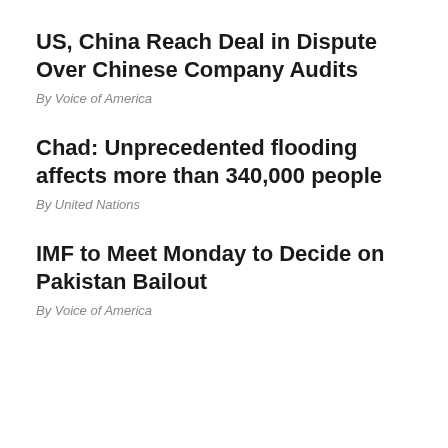US, China Reach Deal in Dispute Over Chinese Company Audits
By Voice of America
Chad: Unprecedented flooding affects more than 340,000 people
By United Nations
IMF to Meet Monday to Decide on Pakistan Bailout
By Voice of America